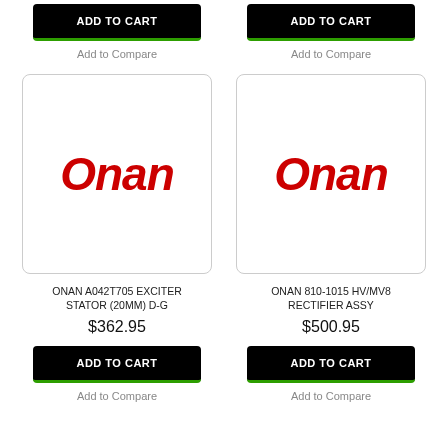ADD TO CART
Add to Compare
ADD TO CART
Add to Compare
[Figure (logo): Onan brand logo in red italic bold text]
[Figure (logo): Onan brand logo in red italic bold text]
ONAN A042T705 EXCITER STATOR (20MM) D-G
$362.95
ONAN 810-1015 HV/MV8 RECTIFIER ASSY
$500.95
ADD TO CART
Add to Compare
ADD TO CART
Add to Compare